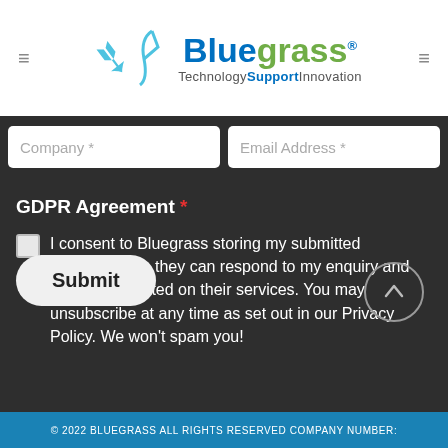[Figure (logo): Bluegrass logo with blade/tick mark graphic, blue and green text, tagline Technology Support Innovation]
Company *
Email Address *
GDPR Agreement *
I consent to Bluegrass storing my submitted information so they can respond to my enquiry and keep me updated on their services. You may unsubscribe at any time as set out in our Privacy Policy. We won't spam you!
Submit
© 2022 BLUEGRASS ALL RIGHTS RESERVED COMPANY NUMBER: